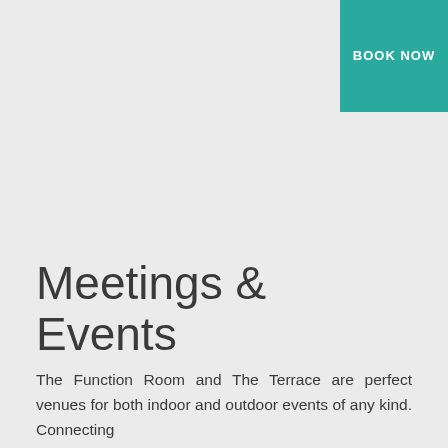[Figure (other): Teal/green 'BOOK NOW' button in the top-right corner]
Meetings & Events
The Function Room and The Terrace are perfect venues for both indoor and outdoor events of any kind. Connecting